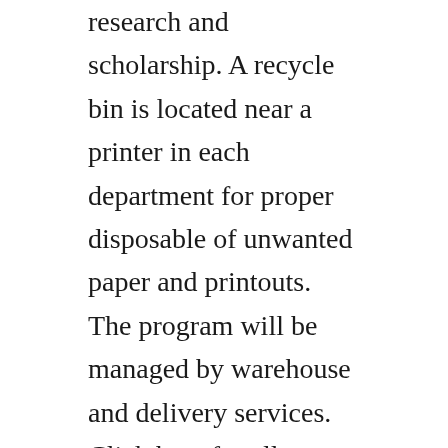research and scholarship. A recycle bin is located near a printer in each department for proper disposable of unwanted paper and printouts. The program will be managed by warehouse and delivery services. Click here for all news regarding classroom and application access during covid19 remote learning. Nd students will work with the isvi students to teach computer science, as well as to learn about the barriers to entry faced by low vision students to technology careers.
University of notre dame case study aws marketplace. Available software office of